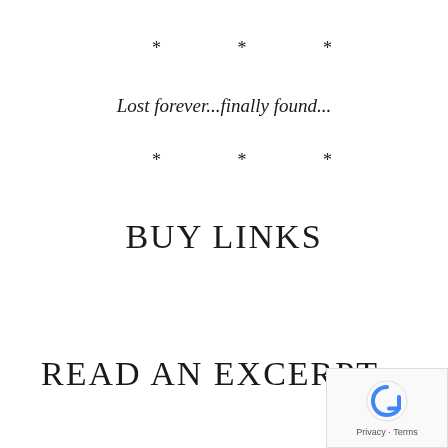* * *
Lost forever...finally found...
* * *
BUY LINKS
READ AN EXCERPT